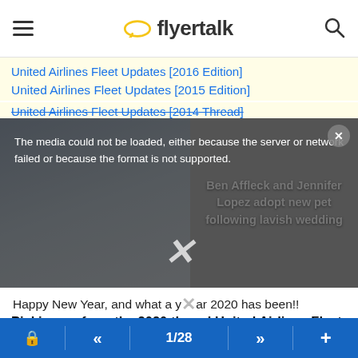flyertalk
United Airlines Fleet Updates [2016 Edition]
United Airlines Fleet Updates [2015 Edition]
United Airlines Fleet Updates [2014 Thread]
[Figure (screenshot): Media overlay showing an error message 'The media could not be loaded, either because the server or network failed or because the format is not supported.' overlaid on a news thumbnail about 'Ben Affleck and Jennifer Lopez adopt new pet following lavish wedding', with a large X dismiss button and a close button.]
Happy New Year, and what a year 2020 has been!!
Picking up from the 2020 thread United Airlines Fleet Updates [2020 Edition]
Despite the mass-grounding of large portions of the fleet, some fleet changes did take place this year.
In 2020:
1/28